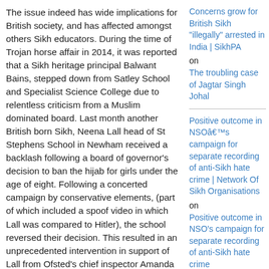The issue indeed has wide implications for British society, and has affected amongst others Sikh educators. During the time of Trojan horse affair in 2014, it was reported that a Sikh heritage principal Balwant Bains, stepped down from Satley School and Specialist Science College due to relentless criticism from a Muslim dominated board. Last month another British born Sikh, Neena Lall head of St Stephens School in Newham received a backlash following a board of governor's decision to ban the hijab for girls under the age of eight. Following a concerted campaign by conservative elements, (part of which included a spoof video in which Lall was compared to Hitler), the school reversed their decision. This resulted in an unprecedented intervention in support of Lall from Ofsted's chief inspector Amanda Spielman.
Concerns grow for British Sikh "illegally" arrested in India | SikhPA on The troubling case of Jagtar Singh Johal
Positive outcome in NSOâ€™s campaign for separate recording of anti-Sikh hate crime | Network Of Sikh Organisations on Positive outcome in NSO's campaign for separate recording of anti-Sikh hate crime